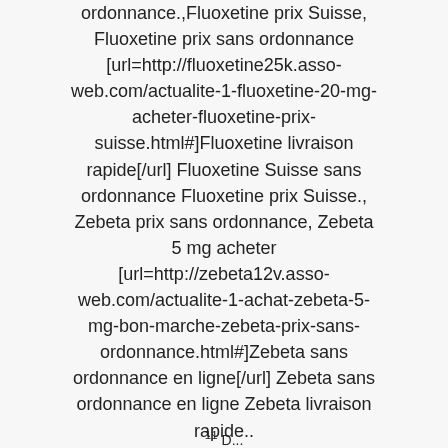ordonnance.,Fluoxetine prix Suisse, Fluoxetine prix sans ordonnance [url=http://fluoxetine25k.asso-web.com/actualite-1-fluoxetine-20-mg-acheter-fluoxetine-prix-suisse.html#]Fluoxetine livraison rapide[/url] Fluoxetine Suisse sans ordonnance Fluoxetine prix Suisse., Zebeta prix sans ordonnance, Zebeta 5 mg acheter [url=http://zebeta12v.asso-web.com/actualite-1-achat-zebeta-5-mg-bon-marche-zebeta-prix-sans-ordonnance.html#]Zebeta sans ordonnance en ligne[/url] Zebeta sans ordonnance en ligne Zebeta livraison rapide..
11 D...